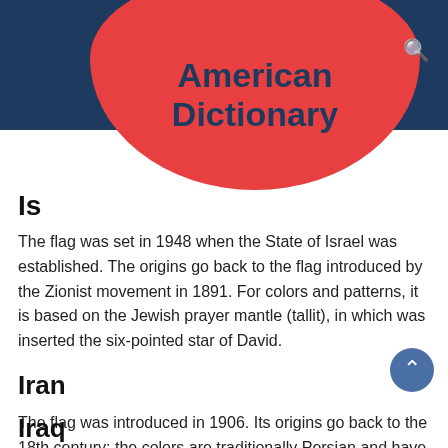American Dictionary
Is...
The flag was set in 1948 when the State of Israel was established. The origins go back to the flag introduced by the Zionist movement in 1891. For colors and patterns, it is based on the Jewish prayer mantle (tallit), in which was inserted the six-pointed star of David.
Iran
The flag was introduced in 1906. Its origins go back to the 18th century; the colors are traditionally Persian and have no particular symbolism. The emblem in the white field was inserted in 1979; four crescents around a sword stand for Islam and its spiritual power.
Iraq